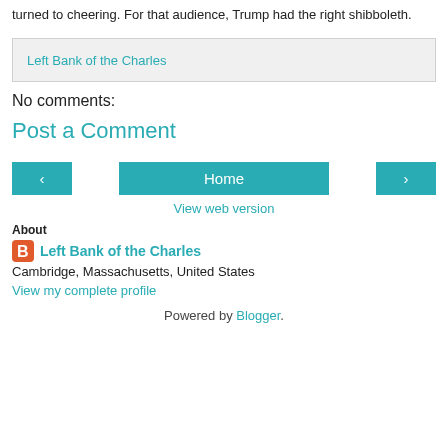turned to cheering. For that audience, Trump had the right shibboleth.
Left Bank of the Charles
No comments:
Post a Comment
[Figure (other): Navigation buttons: left arrow, Home, right arrow]
View web version
About
Left Bank of the Charles
Cambridge, Massachusetts, United States
View my complete profile
Powered by Blogger.